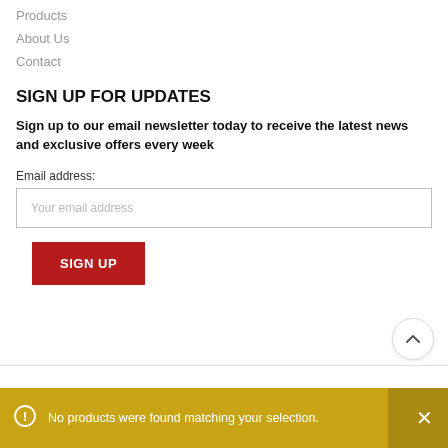Products
About Us
Contact
SIGN UP FOR UPDATES
Sign up to our email newsletter today to receive the latest news and exclusive offers every week
Email address:
[Figure (screenshot): Email address input field with placeholder text 'Your email address']
[Figure (screenshot): Red SIGN UP button]
[Figure (screenshot): Scroll-to-top circular button with upward caret icon]
No products were found matching your selection.